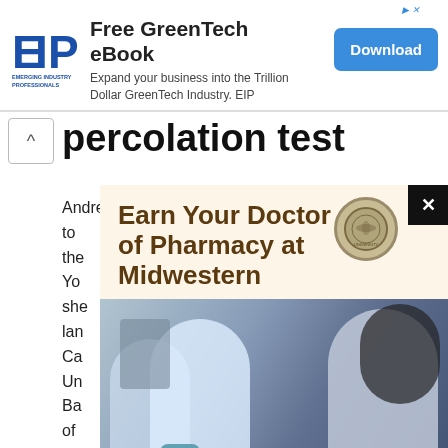[Figure (screenshot): EIP (Emerging Industry Professionals) advertisement banner for a Free GreenTech eBook with a blue Download button]
percolation test
Andrea is a full-time land investor who used to [text obscured by popup] or the [text obscured] w Yo [text obscured] w she [text obscured] e lan [text obscured] Ca [text obscured] he Un Ba of be
[Figure (screenshot): Popup advertisement for Midwestern University Doctor of Pharmacy program, showing students in a pharmacy lab, with Learn More CTA button]